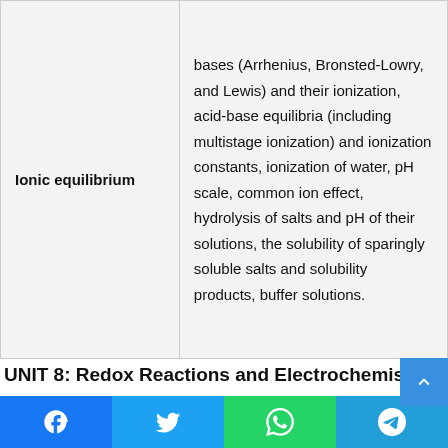| Topic | Description |
| --- | --- |
| Ionic equilibrium | bases (Arrhenius, Bronsted-Lowry, and Lewis) and their ionization, acid-base equilibria (including multistage ionization) and ionization constants, ionization of water, pH scale, common ion effect, hydrolysis of salts and pH of their solutions, the solubility of sparingly soluble salts and solubility products, buffer solutions. |
UNIT 8: Redox Reactions and Electrochemistry
| Topic | Description |
| --- | --- |
|  | Electronic concepts of oxidation and |